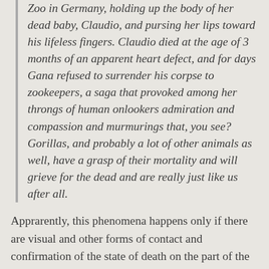Zoo in Germany, holding up the body of her dead baby, Claudio, and pursing her lips toward his lifeless fingers. Claudio died at the age of 3 months of an apparent heart defect, and for days Gana refused to surrender his corpse to zookeepers, a saga that provoked among her throngs of human onlookers admiration and compassion and murmurings that, you see? Gorillas, and probably a lot of other animals as well, have a grasp of their mortality and will grieve for the dead and are really just like us after all.
Apprarently, this phenomena happens only if there are visual and other forms of contact and confirmation of the state of death on the part of the surviving creature or group, as it is unclear if animals can wrap their minds around death as an abstract